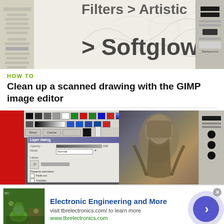[Figure (screenshot): Screenshot of GIMP image editor showing Filters > Artistic > Softglow menu with a pencil sketch drawing in the workspace]
HOW TO
Clean up a scanned drawing with the GIMP image editor
[Figure (screenshot): Screenshot of GIMP image editor showing color palette and layer dialog with a rendered 3D character image]
[Figure (screenshot): Advertisement banner: Electronic Engineering and More - visit tbrelectronics.com/ to learn more - www.tbrelectronics.com]